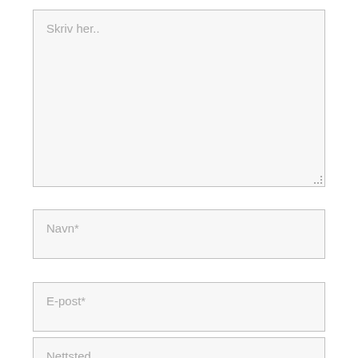[Figure (screenshot): A web form with a large textarea placeholder 'Skriv her..', a name input field with placeholder 'Navn*', an email input field with placeholder 'E-post*', and a partially visible website input field with placeholder 'Nettsted'.]